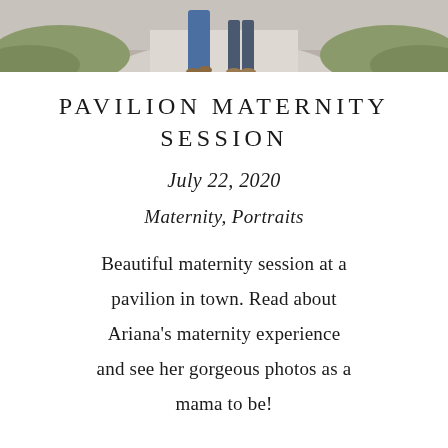[Figure (photo): Top portion of a maternity photo showing the lower body/legs of a pregnant woman in a blue dress and a man in jeans, walking on a light concrete path with greenery on the sides.]
PAVILION MATERNITY SESSION
July 22, 2020
Maternity, Portraits
Beautiful maternity session at a pavilion in town. Read about Ariana's maternity experience and see her gorgeous photos as a mama to be!